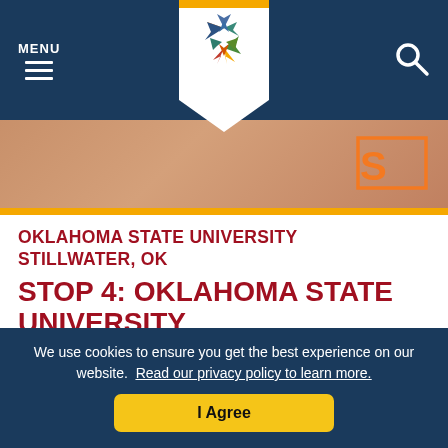MENU [hamburger icon] [OSU logo] [search icon]
[Figure (photo): Hero image showing a person wearing an OSU (Oklahoma State University) jersey with orange OSU logo visible on right]
OKLAHOMA STATE UNIVERSITY STILLWATER, OK
STOP 4: OKLAHOMA STATE UNIVERSITY
Garth Brooks attended OSU from 1981 to 1985. During that time, the young Brooks majored in advertising while also pursuing athletics –
We use cookies to ensure you get the best experience on our website. Read our privacy policy to learn more.
I Agree